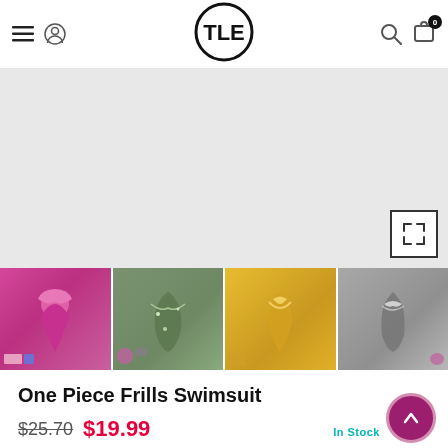TLE store navigation header with hamburger menu, logo, search and cart icons
[Figure (photo): Main product image area showing a one piece frills swimsuit, light gray background with expand/fullscreen button]
[Figure (photo): Four thumbnail images of the One Piece Frills Swimsuit in different colors: magenta/pink, green floral, yellow, and gray]
One Piece Frills Swimsuit
$25.70  $19.99
In Stock